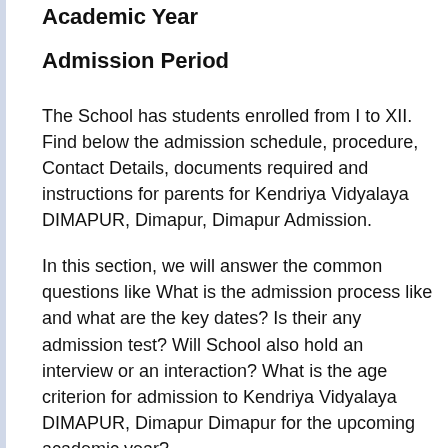Academic Year
Admission Period
The School has students enrolled from I to XII. Find below the admission schedule, procedure, Contact Details, documents required and instructions for parents for Kendriya Vidyalaya DIMAPUR, Dimapur, Dimapur Admission.
In this section, we will answer the common questions like What is the admission process like and what are the key dates? Is their any admission test? Will School also hold an interview or an interaction? What is the age criterion for admission to Kendriya Vidyalaya DIMAPUR, Dimapur Dimapur for the upcoming academic year?